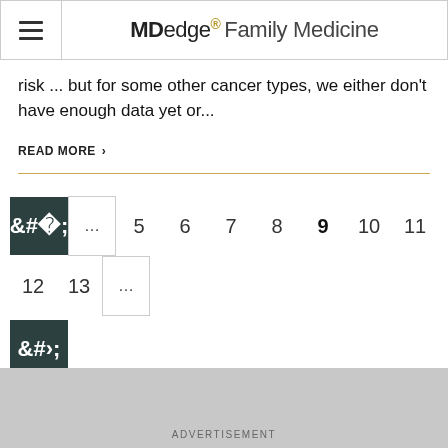MDedge Family Medicine
risk ... but for some other cancer types, we either don't have enough data yet or...
READ MORE >
[Figure (other): Pagination navigation with previous button, ellipsis, page numbers 5 6 7 8 9 10 11 12 13, ellipsis, and next button. Current page is 9.]
ADVERTISEMENT